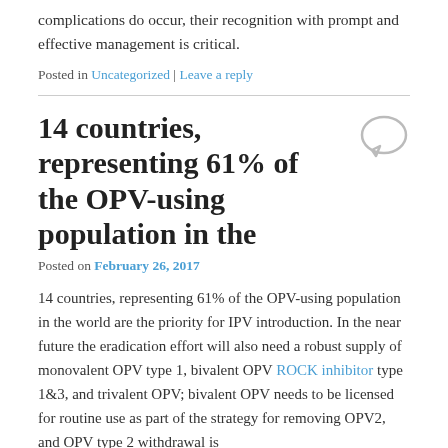complications do occur, their recognition with prompt and effective management is critical.
Posted in Uncategorized | Leave a reply
14 countries, representing 61% of the OPV-using population in the
Posted on February 26, 2017
14 countries, representing 61% of the OPV-using population in the world are the priority for IPV introduction. In the near future the eradication effort will also need a robust supply of monovalent OPV type 1, bivalent OPV ROCK inhibitor type 1&3, and trivalent OPV; bivalent OPV needs to be licensed for routine use as part of the strategy for removing OPV2, and OPV type 2 withdrawal is